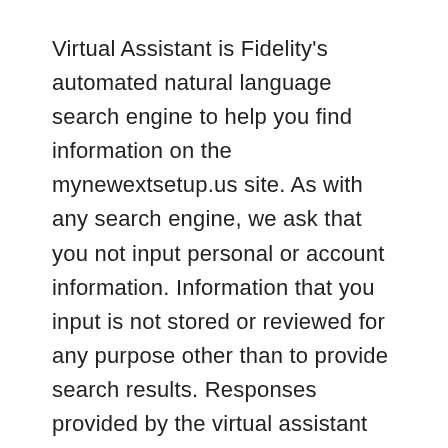Virtual Assistant is Fidelity's automated natural language search engine to help you find information on the mynewextsetup.us site. As with any search engine, we ask that you not input personal or account information. Information that you input is not stored or reviewed for any purpose other than to provide search results. Responses provided by the virtual assistant are to help you navigate mynewextsetup.us and, as with any Internet search engine, you should review the results carefully. Fidelity does not guarantee accuracy of results or suitability of information provided.